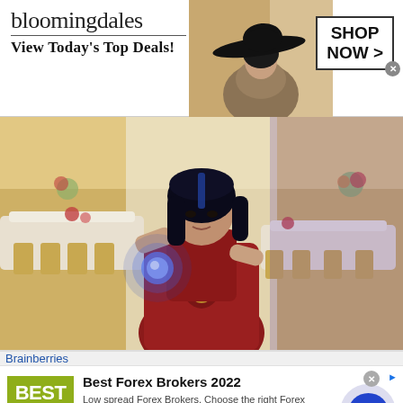[Figure (screenshot): Bloomingdales advertisement banner: logo text 'bloomingdales', tagline 'View Today's Top Deals!', woman in large black hat, 'SHOP NOW >' button in box]
[Figure (photo): Photo of a young woman in a red traditional outfit with a glowing blue energy orb in a banquet hall setting with white tablecloths and gold chairs]
Brainberries
[Figure (screenshot): Best Forex Brokers 2022 advertisement: olive green logo box with 'BEST Forex Brokers 2022' text, headline 'Best Forex Brokers 2022', description 'Low spread Forex Brokers. Choose the right Forex Broker now!', url 'www.forex-ratings.com', blue circular play button]